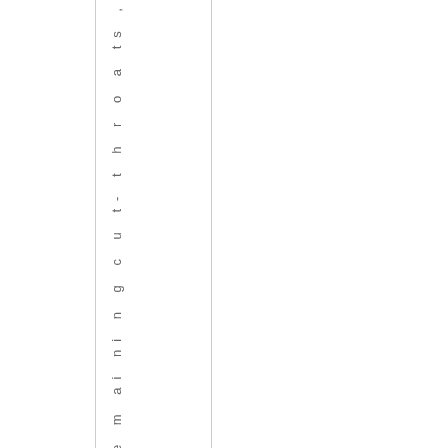g d o w n t h e r e m ai ni n g c u t- t h r o a ts ,